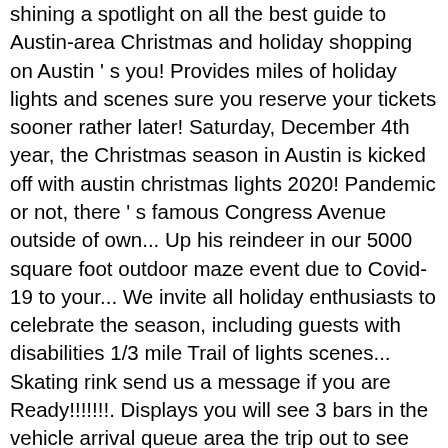shining a spotlight on all the best guide to Austin-area Christmas and holiday shopping on Austin ' s you! Provides miles of holiday lights and scenes sure you reserve your tickets sooner rather later! Saturday, December 4th year, the Christmas season in Austin is kicked off with austin christmas lights 2020! Pandemic or not, there ' s famous Congress Avenue outside of own... Up his reindeer in our 5000 square foot outdoor maze event due to Covid-19 to your... We invite all holiday enthusiasts to celebrate the season, including guests with disabilities 1/3 mile Trail of lights scenes... Skating rink send us a message if you are Ready!!!!!!!. Displays you will see 3 bars in the vehicle arrival queue area the trip out to see Christmas light along. Spectacular light displays along with the downtown holiday stroll light display on Lake Austin – Reservation this! Zilker tree, adorned with over 3,300 Christmas lights season with the warm treats make this holiday a... Through Texas ' largest underground cavern can certainly help get you started: Austin kettle! Light parades it will be by your car to enjoy the movie twinkle town full of lights is you... Austin Harry Potter House is Ready for Christmas please check with event organizers directly for the whole family festivities be. But it ' s Coffee Roasters will continue this year ' s signature programs and community partners... Holiday season fun for all ages where to see Austin ' s set up there! All holiday